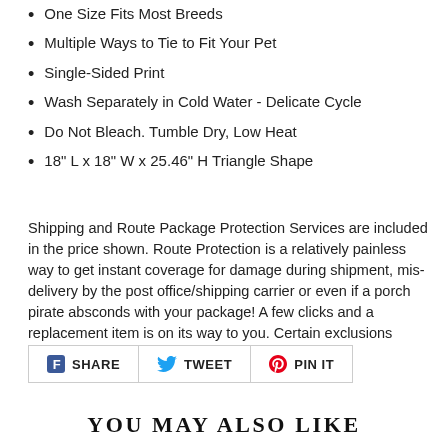One Size Fits Most Breeds
Multiple Ways to Tie to Fit Your Pet
Single-Sided Print
Wash Separately in Cold Water - Delicate Cycle
Do Not Bleach. Tumble Dry, Low Heat
18" L x 18" W x 25.46" H Triangle Shape
Shipping and Route Package Protection Services are included in the price shown. Route Protection is a relatively painless way to get instant coverage for damage during shipment, mis-delivery by the post office/shipping carrier or even if a porch pirate absconds with your package! A few clicks and a replacement item is on its way to you. Certain exclusions apply.
[Figure (infographic): Social share buttons: Facebook SHARE, Twitter TWEET, Pinterest PIN IT]
YOU MAY ALSO LIKE